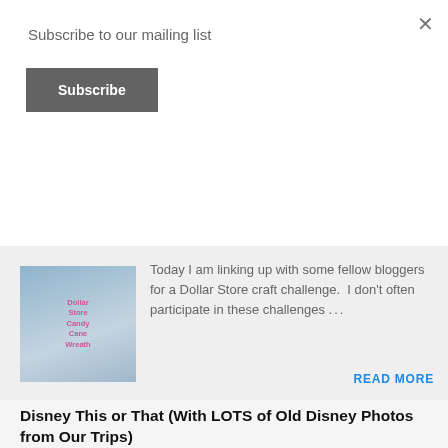Subscribe to our mailing list
×
Subscribe
[Figure (photo): Thumbnail image of a Dollar Store Candy Cane Wreath craft, blue tones with pink text overlay]
Today I am linking up with some fellow bloggers for a Dollar Store craft challenge.  I don't often participate in these challenges …
READ MORE
Disney This or That (With LOTS of Old Disney Photos from Our Trips)
August 16, 2022
[Figure (photo): Thumbnail image for Disney This or That post, pink background with Disney graphics]
I was all out of posting ideas for today when I saw this adorable Disney This or That and with